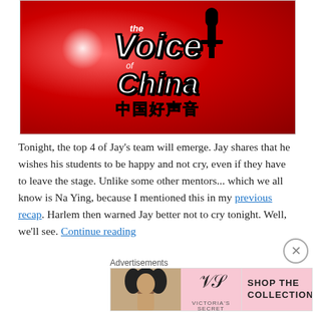[Figure (photo): The Voice of China (中国好声音) TV show logo on a red background with sparkle effects and a silhouetted figure holding a microphone]
Tonight, the top 4 of Jay's team will emerge. Jay shares that he wishes his students to be happy and not cry, even if they have to leave the stage. Unlike some other mentors... which we all know is Na Ying, because I mentioned this in my previous recap. Harlem then warned Jay better not to cry tonight. Well, we'll see. Continue reading
Advertisements
[Figure (screenshot): Victoria's Secret advertisement banner showing a woman with curly hair, the VS logo, 'SHOP THE COLLECTION' text, and a 'SHOP NOW' call-to-action button]